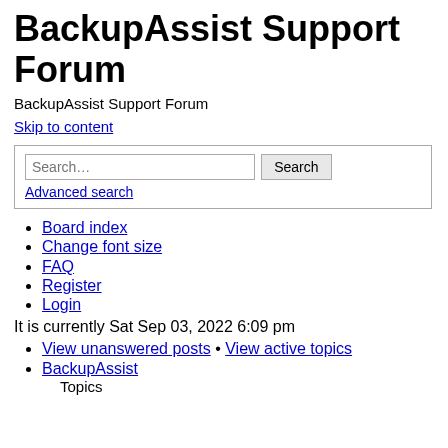BackupAssist Support Forum
BackupAssist Support Forum
Skip to content
Search… Search Advanced search
Board index
Change font size
FAQ
Register
Login
It is currently Sat Sep 03, 2022 6:09 pm
View unanswered posts • View active topics
BackupAssist Topics